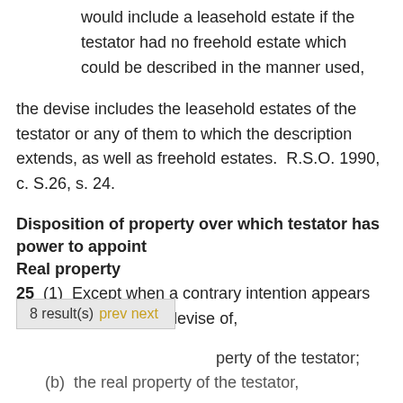would include a leasehold estate if the testator had no freehold estate which could be described in the manner used,
the devise includes the leasehold estates of the testator or any of them to which the description extends, as well as freehold estates.  R.S.O. 1990, c. S.26, s. 24.
Disposition of property over which testator has power to appoint
Real property
25  (1)  Except when a contrary intention appears by the will, a general devise of,
(a)  the real property of the testator;
(b)  the real property of the testator,